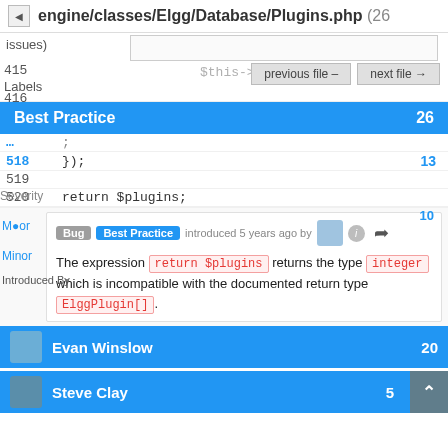engine/classes/Elgg/Database/Plugins.php (26 issues)
415
416
$this->active
previous file — next file →
Best Practice 26
518  });  13
519
520  return $plugins;
Bug Best Practice introduced 5 years ago by
The expression return $plugins returns the type integer which is incompatible with the documented return type ElggPlugin[].
Severity
Major
Minor
Introduced By
Evan Winslow 20
Steve Clay 5